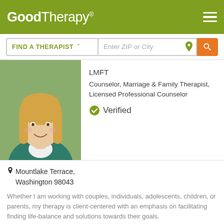GoodTherapy®
FIND A THERAPIST  ∨  Enter ZIP or City
LMFT
Counselor, Marriage & Family Therapist, Licensed Professional Counselor
Verified
[Figure (photo): Profile photo of a smiling blonde woman wearing a teal top]
Mountlake Terrace, Washington 98043
Whether I am working with couples, individuals, adolescents, children, or parents, my therapy is client-centered with an emphasis on facilitating finding life-balance and solutions towards their goals.
GoodTherapy uses cookies to personalize content and ads to provide better services for our users and to analyze our traffic. By continuing to use this site you consent to our cookies.